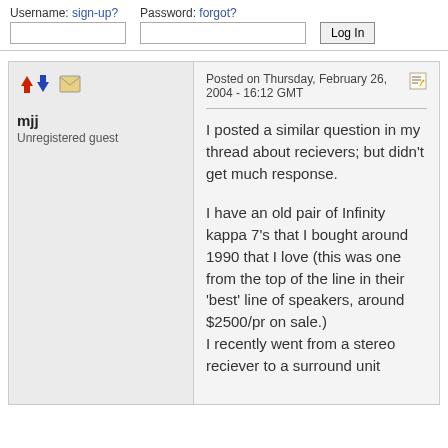Username: sign-up?   Password: forgot?
mjj
Unregistered guest
Posted on Thursday, February 26, 2004 - 16:12 GMT
I posted a similar question in my thread about recievers; but didn't get much response.
I have an old pair of Infinity kappa 7's that I bought around 1990 that I love (this was one from the top of the line in their 'best' line of speakers, around $2500/pr on sale.)
I recently went from a stereo reciever to a surround unit